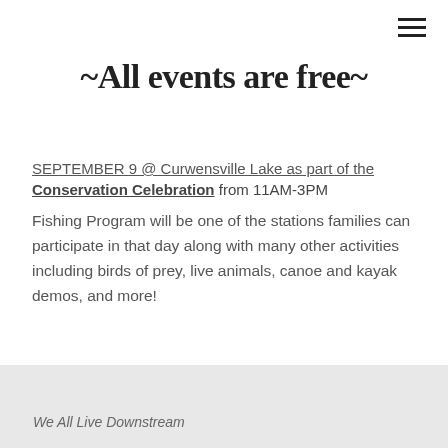~All events are free~
SEPTEMBER 9 @ Curwensville Lake as part of the Conservation Celebration from 11AM-3PM
Fishing Program will be one of the stations families can participate in that day along with many other activities including birds of prey, live animals, canoe and kayak demos, and more!
We All Live Downstream